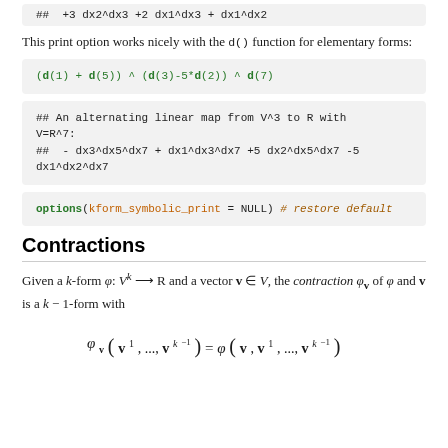## +3 dx2^dx3 +2 dx1^dx3 + dx1^dx2
This print option works nicely with the d() function for elementary forms:
(d(1) + d(5)) ^ (d(3)-5*d(2)) ^ d(7)
## An alternating linear map from V^3 to R with V=R^7:
##  - dx3^dx5^dx7 + dx1^dx3^dx7 +5 dx2^dx5^dx7 -5 dx1^dx2^dx7
options(kform_symbolic_print = NULL) # restore default
Contractions
Given a k-form φ: V^k → R and a vector v ∈ V, the contraction φ_v of φ and v is a k − 1-form with